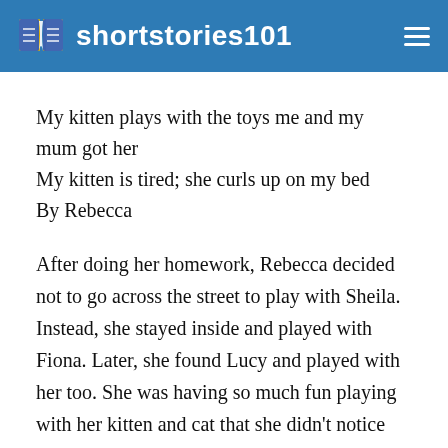shortstories101
My kitten plays with the toys me and my mum got her
My kitten is tired; she curls up on my bed
By Rebecca
After doing her homework, Rebecca decided not to go across the street to play with Sheila. Instead, she stayed inside and played with Fiona. Later, she found Lucy and played with her too. She was having so much fun playing with her kitten and cat that she didn't notice how fast the time went by and was surprised when her mum called her to dinner. Rebecca was even more surprised to